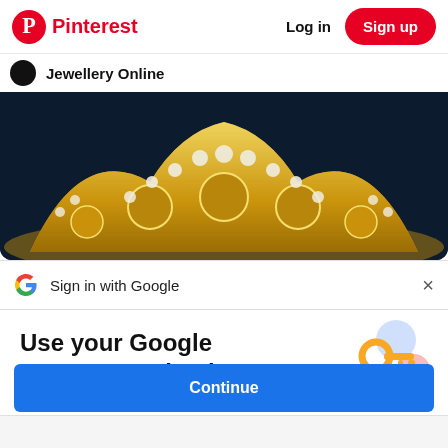Pinterest  Log in  Sign up
Jewellery Online
[Figure (photo): A gold jewellery crown/tiara with pearl decorations on a dark navy background]
Sign in with Google
Use your Google Account to sign in to Pinterest
No more passwords to remember. Signing in is fast, simple and secure.
[Figure (illustration): Google key and colorful circles illustration for Google sign-in]
Continue